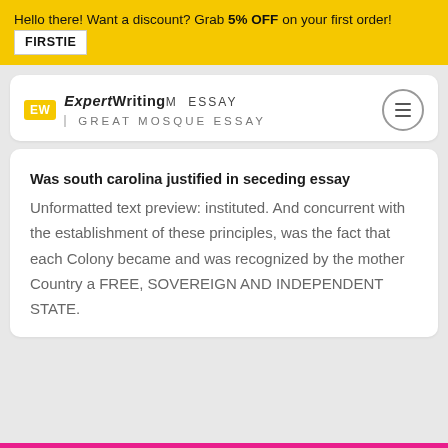Hello there! Want a discount? Grab 5% OFF on your first order! FIRSTIE
ExpertWriting CUSTOM ESSAY | GREAT MOSQUE ESSAY
Was south carolina justified in seceding essay
Unformatted text preview: instituted. And concurrent with the establishment of these principles, was the fact that each Colony became and was recognized by the mother Country a FREE, SOVEREIGN AND INDEPENDENT STATE.